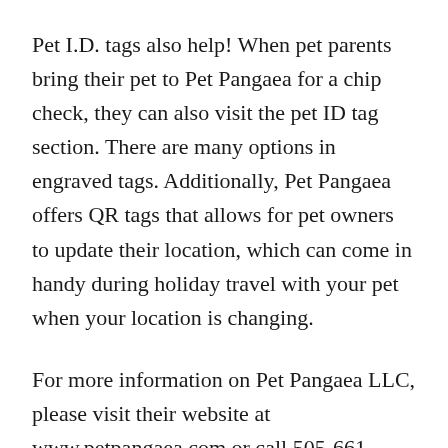Pet I.D. tags also help! When pet parents bring their pet to Pet Pangaea for a chip check, they can also visit the pet ID tag section. There are many options in engraved tags. Additionally, Pet Pangaea offers QR tags that allows for pet owners to update their location, which can come in handy during holiday travel with your pet when your location is changing.
For more information on Pet Pangaea LLC, please visit their website at www.petpangaea.com or call 505-661-1010. The store is located at 158 Central Park Square in Los